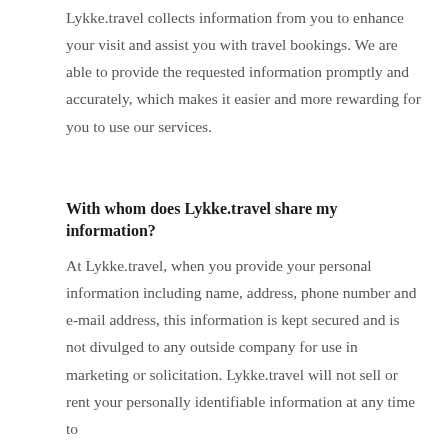Lykke.travel collects information from you to enhance your visit and assist you with travel bookings. We are able to provide the requested information promptly and accurately, which makes it easier and more rewarding for you to use our services.
With whom does Lykke.travel share my information?
At Lykke.travel, when you provide your personal information including name, address, phone number and e-mail address, this information is kept secured and is not divulged to any outside company for use in marketing or solicitation. Lykke.travel will not sell or rent your personally identifiable information at any time to